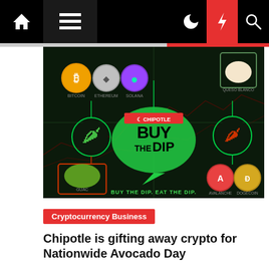Navigation bar with home, menu, moon, lightning, and search icons
[Figure (photo): Chipotle 'Buy The Dip' promotional graphic with cryptocurrency coins (Bitcoin, Ethereum, Solana), guacamole, queso blanco, and other Chipotle items connected by circuit-board style lines. Text reads 'BUY THE DIP' and 'BUY THE DIP. EAT THE DIP.']
Cryptocurrency Business
Chipotle is gifting away crypto for Nationwide Avocado Day
Fenika Bench  ⊙ 3 weeks ago